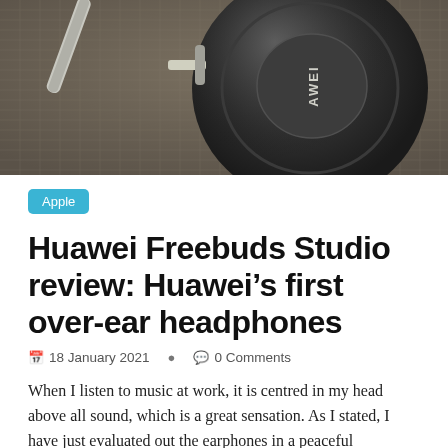[Figure (photo): Close-up photo of a Huawei over-ear headphone (Freebuds Studio) on a textured fabric surface, showing the earpad and the Huawei logo on the metallic ear cup.]
Apple
Huawei Freebuds Studio review: Huawei’s first over-ear headphones
18 January 2021   0 Comments
When I listen to music at work, it is centred in my head above all sound, which is a great sensation. As I stated, I have just evaluated out the earphones in a peaceful environment and not in public. When at work, I did not observe the train passing by at all.
User acknowledgment.